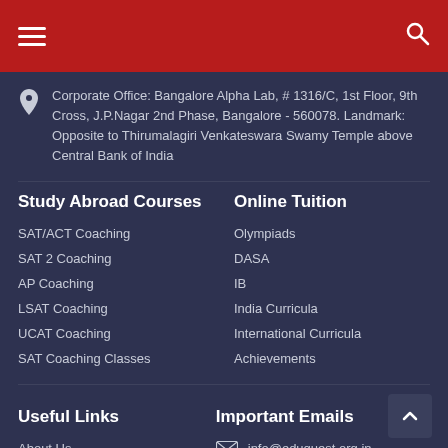Navigation header with hamburger menu and search icon
Corporate Office: Bangalore Alpha Lab, # 1316/C, 1st Floor, 9th Cross, J.P.Nagar 2nd Phase, Bangalore - 560078. Landmark: Opposite to Thirumalagiri Venkateswara Swamy Temple above Central Bank of India
Study Abroad Courses
Online Tuition
SAT/ACT Coaching
SAT 2 Coaching
AP Coaching
LSAT Coaching
UCAT Coaching
SAT Coaching Classes
Olympiads
DASA
IB
India Curricula
International Curricula
Achievements
Useful Links
Important Emails
About Us
Blog
info@eduquest.org.in
hr@eduquest.org.in